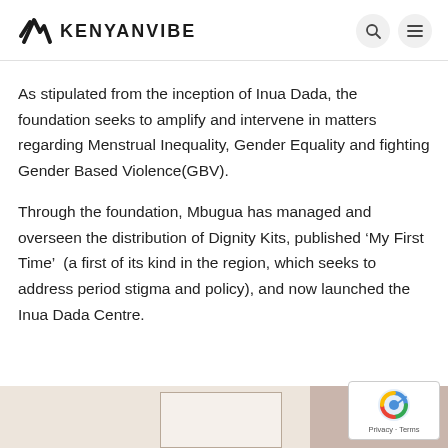KENYANVIBE
As stipulated from the inception of Inua Dada, the foundation seeks to amplify and intervene in matters regarding Menstrual Inequality, Gender Equality and fighting Gender Based Violence(GBV).
Through the foundation, Mbugua has managed and overseen the distribution of Dignity Kits, published ‘My First Time’  (a first of its kind in the region, which seeks to address period stigma and policy), and now launched the Inua Dada Centre.
[Figure (photo): Bottom portion of page showing partial images cut off at the bottom edge of the page, with a reCAPTCHA privacy badge in the bottom right corner]